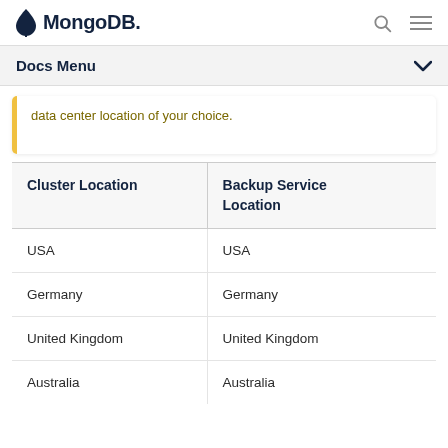MongoDB
data center location of your choice.
| Cluster Location | Backup Service Location |
| --- | --- |
| USA | USA |
| Germany | Germany |
| United Kingdom | United Kingdom |
| Australia | Australia |